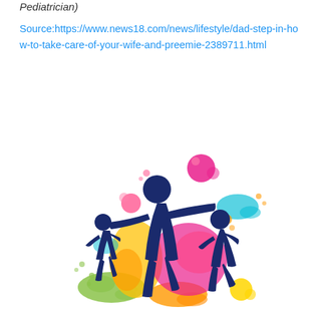Pediatrician)
Source:https://www.news18.com/news/lifestyle/dad-step-in-how-to-take-care-of-your-wife-and-preemie-2389711.html
[Figure (illustration): Colorful illustration of three running children silhouettes in dark blue against a background of vibrant paint splashes in pink, yellow, orange, green, and teal colors.]